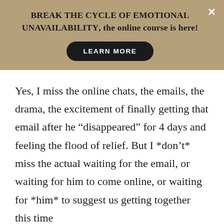BREAK THE CYCLE OF EMOTIONAL UNAVAILABILITY, the online course is here!
[Figure (other): LEARN MORE button - black pill-shaped button with white text]
Yes, I miss the online chats, the emails, the drama, the excitement of finally getting that email after he “disappeared” for 4 days and feeling the flood of relief. But I *don’t* miss the actual waiting for the email, or waiting for him to come online, or waiting for *him* to suggest us getting together this time